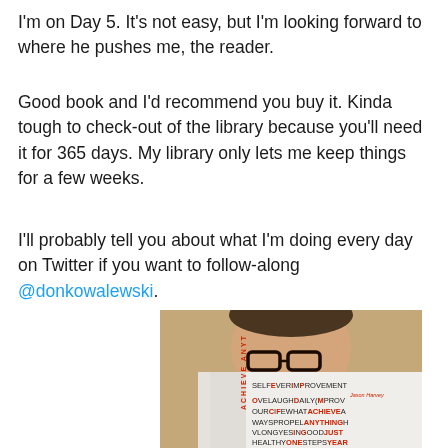I'm on Day 5. It's not easy, but I'm looking forward to where he pushes me, the reader.
Good book and I'd recommend you buy it. Kinda tough to check-out of the library because you'll need it for 365 days. My library only lets me keep things for a few weeks.
I'll probably tell you about what I'm doing every day on Twitter if you want to follow-along @donkowalewski.
[Figure (photo): A person holding up a book called 'Achieve Anything' covering the lower half of their face. The book cover shows words like SELFEVERIMPROVEMENT, OVELAUGHDAILYIMPROV, OURLIFEWHATACHIEVEA, WAYSPROPELANYHINGH, VLONGYESINGOODJUST, EALTHYONESTEPSYEAR, and ACTIVETRAN in a word-search style layout.]